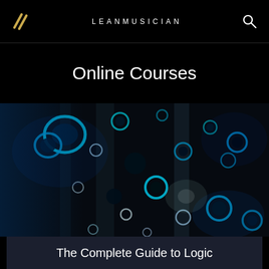LEANMUSICIAN
Online Courses
[Figure (photo): Abstract dark background with glowing blue circular bubble shapes and dark vertical streaks, creating an artistic fluid or underwater visual effect.]
The Complete Guide to Logic